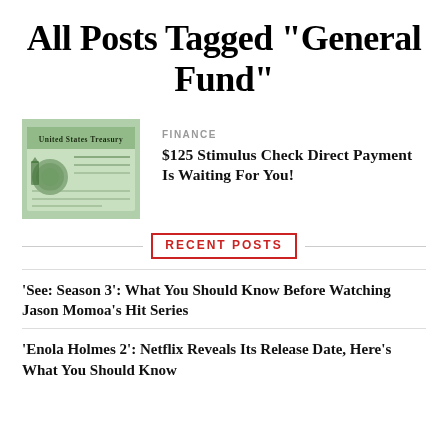All Posts Tagged "General Fund"
[Figure (photo): Image of a United States Treasury check with green tint]
FINANCE
$125 Stimulus Check Direct Payment Is Waiting For You!
RECENT POSTS
'See: Season 3': What You Should Know Before Watching Jason Momoa's Hit Series
'Enola Holmes 2': Netflix Reveals Its Release Date, Here's What You Should Know